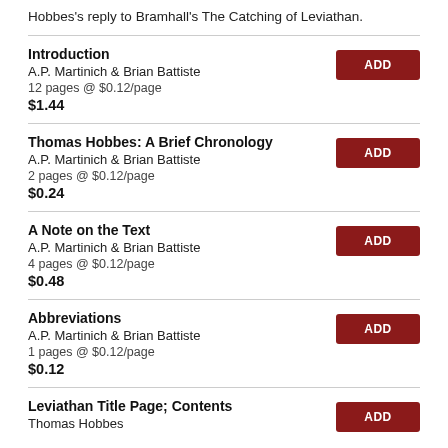Hobbes's reply to Bramhall's The Catching of Leviathan.
Introduction | A.P. Martinich & Brian Battiste | 12 pages @ $0.12/page | $1.44
Thomas Hobbes: A Brief Chronology | A.P. Martinich & Brian Battiste | 2 pages @ $0.12/page | $0.24
A Note on the Text | A.P. Martinich & Brian Battiste | 4 pages @ $0.12/page | $0.48
Abbreviations | A.P. Martinich & Brian Battiste | 1 pages @ $0.12/page | $0.12
Leviathan Title Page; Contents | Thomas Hobbes